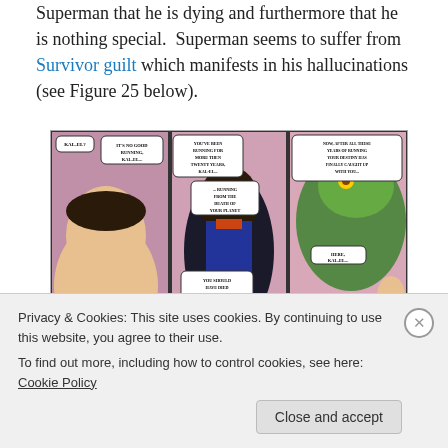Superman that he is dying and furthermore that he is nothing special. Superman seems to suffer from Survivor guilt which manifests in his hallucinations (see Figure 25 below).
[Figure (illustration): Three comic book panels showing Superman hallucinations. Left panel: Superman's face with speech bubbles 'KAL-EL?' and 'IT'S NO GOOD RUNNING, KAL-EL...'. Middle panel: A dark figure with speech bubbles 'YOU'VE BEEN RUNNING FOR MORE THEN TWENTY YEARS, KAL-EL...' and '...RUNNING FROM THE DEATH OF YOUR PLANET' and 'YOU SHOULD HAVE DIED ON KRYPTON, KAL-EL, AS YOU WERE...'. Right panel: A green creature with Superman in background and speech bubbles 'NOW, AFTER ALL THESE YEARS OF RUNNING YOUR DESTINY HAS FINALLY CAUGHT UP WITH YOU...' and 'HERE, KAL-EL...']
Privacy & Cookies: This site uses cookies. By continuing to use this website, you agree to their use. To find out more, including how to control cookies, see here: Cookie Policy